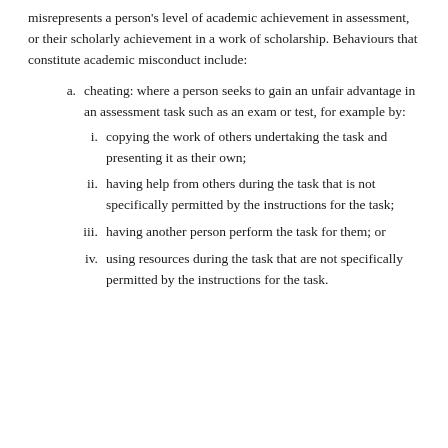misrepresents a person's level of academic achievement in assessment, or their scholarly achievement in a work of scholarship. Behaviours that constitute academic misconduct include:
a. cheating: where a person seeks to gain an unfair advantage in an assessment task such as an exam or test, for example by:
i. copying the work of others undertaking the task and presenting it as their own;
ii. having help from others during the task that is not specifically permitted by the instructions for the task;
iii. having another person perform the task for them; or
iv. using resources during the task that are not specifically permitted by the instructions for the task.